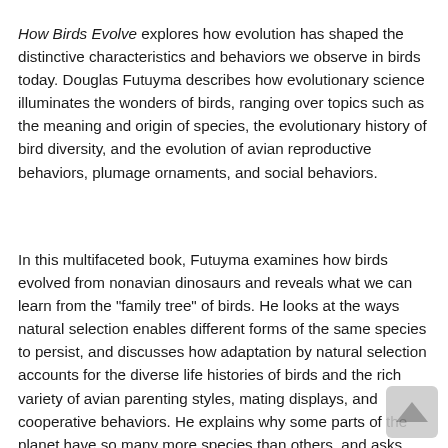How Birds Evolve explores how evolution has shaped the distinctive characteristics and behaviors we observe in birds today. Douglas Futuyma describes how evolutionary science illuminates the wonders of birds, ranging over topics such as the meaning and origin of species, the evolutionary history of bird diversity, and the evolution of avian reproductive behaviors, plumage ornaments, and social behaviors.
In this multifaceted book, Futuyma examines how birds evolved from nonavian dinosaurs and reveals what we can learn from the "family tree" of birds. He looks at the ways natural selection enables different forms of the same species to persist, and discusses how adaptation by natural selection accounts for the diverse life histories of birds and the rich variety of avian parenting styles, mating displays, and cooperative behaviors. He explains why some parts of the planet have so many more species than others, and asks what an evolutionary perspective brings to urgent questions about bird extinction and habitat destruction. Along the way, Futuyma provides an insider's